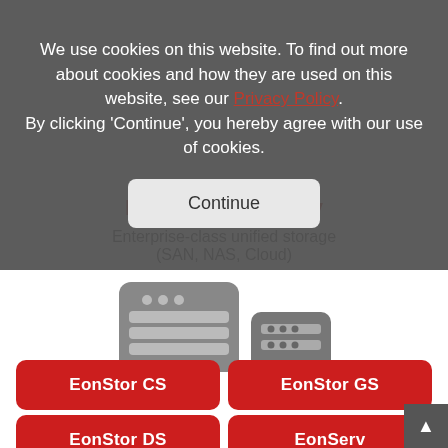[Figure (screenshot): Cookie consent overlay on a website for Infortrend EonStor CS Family storage products. The overlay contains cookie notice text with a Privacy Policy link and a Continue button. Behind/below: red EonStor product family logo text, server/storage device icon SVG illustration in gray, and four red product buttons: EonStor CS, EonStor GS, EonStor DS, EonServ. A back-to-top arrow button appears bottom-right.]
We use cookies on this website. To find out more about cookies and how they are used on this website, see our Privacy Policy. By clicking ‘Continue’, you hereby agree with our use of cookies.
Continue
EonStor CS Family
Enterprise-class unified storage (SAN, NAS, Cloud)
EonStor CS
EonStor GS
EonStor DS
EonServ